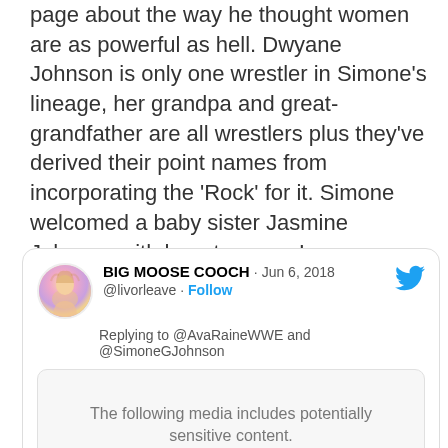page about the way he thought women are as powerful as hell. Dwyane Johnson is only one wrestler in Simone's lineage, her grandpa and great-grandfather are all wrestlers plus they've derived their point names from incorporating the 'Rock' for it. Simone welcomed a baby sister Jasmine Johnson with her stepmom Lauren Hashiann, Jasmine was born in the month of December 16, 2015
[Figure (screenshot): Embedded tweet from @livorleave (BIG MOOSE COOCH) dated Jun 6, 2018, replying to @AvaRaineWWE and @SimoneGJohnson, with a media box showing 'The following media includes potentially sensitive content.']